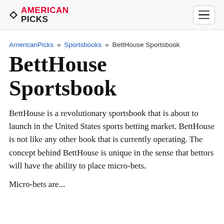American Picks (logo with navigation)
AmericanPicks » Sportsbooks » BettHouse Sportsbook
BettHouse Sportsbook
BettHouse is a revolutionary sportsbook that is about to launch in the United States sports betting market. BettHouse is not like any other book that is currently operating. The concept behind BettHouse is unique in the sense that bettors will have the ability to place micro-bets.
Micro-bets are...